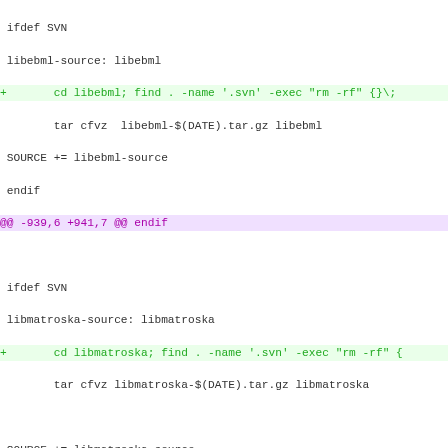ifdef SVN
 libebml-source: libebml
+       cd libebml; find . -name '.svn' -exec "rm -rf" {}\;
        tar cfvz  libebml-$(DATE).tar.gz libebml
 SOURCE += libebml-source
 endif
@@ -939,6 +941,7 @@ endif

 ifdef SVN
 libmatroska-source: libmatroska
+       cd libmatroska; find . -name '.svn' -exec "rm -rf" {
        tar cfvz libmatroska-$(DATE).tar.gz libmatroska

 SOURCE += libmatroska-source
@@ -985,7 +988,8 @@ endif

 ifdef SVN
 ffmpeg-source: ffmpeg
-               tar cfvz ffmpeg-$(DATE).tar.gz ffmpeg
+       cd ffmpeg; find . -name '.svn' -exec "rm -rf" {}\; d
+       tar cfvz ffmpeg-$(DATE).tar.gz ffmpeg

 SOURCE += ffmpeg-source
 endif
@@ -1017,7 +1021,8 @@ endif

 ifdef SVN
 libdvdcss-source: libdvdcss
-                       tar cfvz libdvdcss-$(DATE).tar.gz li
+       cd libmatroska; find . -name '.svn' -exec "rm -rf" {
+       tar cfvz libdvdcss-$(DATE).tar.gz libdvdcss